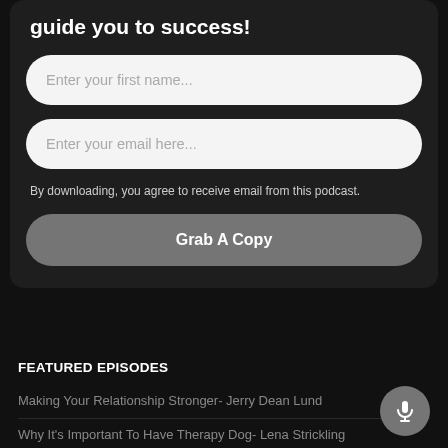guide you to success!
[Figure (screenshot): Form input field with placeholder text 'Enter your first name...']
[Figure (screenshot): Form input field with placeholder text 'Enter your email here...']
By downloading, you agree to receive email from this podcast.
[Figure (screenshot): Button labeled 'Grab A Copy' with gray rounded rectangle background]
FEATURED EPISODES
Making Your Relationship Stronger- Jerry Dean Lund
Why It's Important To Have Therapy Dog- Lena Strickling